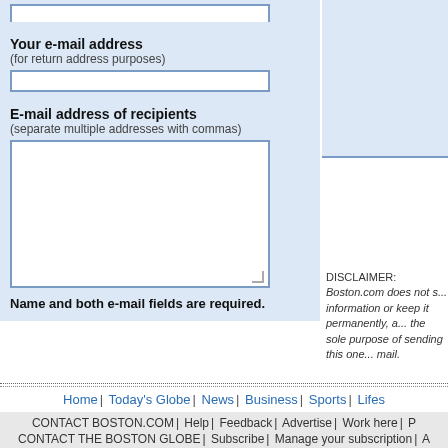Your e-mail address
(for return address purposes)
E-mail address of recipients
(separate multiple addresses with commas)
Name and both e-mail fields are required.
DISCLAIMER: Boston.com does not s... information or keep it permanently, a... the sole purpose of sending this one... mail.
Home | Today's Globe | News | Business | Sports | Lifes...
CONTACT BOSTON.COM | Help | Feedback | Advertise | Work here | P...
CONTACT THE BOSTON GLOBE | Subscribe | Manage your subscription | A...